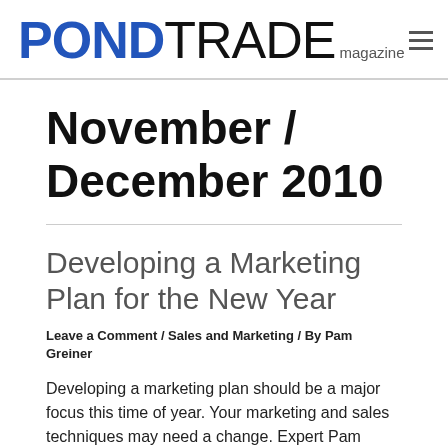PONDTRADE magazine
November / December 2010
Developing a Marketing Plan for the New Year
Leave a Comment / Sales and Marketing / By Pam Greiner
Developing a marketing plan should be a major focus this time of year. Your marketing and sales techniques may need a change. Expert Pam Greiner will give you a fresh approach